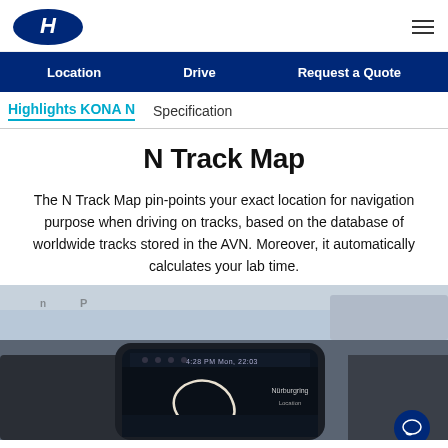Hyundai logo | hamburger menu
Location | Drive | Request a Quote
Highlights KONA N | Specification
N Track Map
The N Track Map pin-points your exact location for navigation purpose when driving on tracks, based on the database of worldwide tracks stored in the AVN. Moreover, it automatically calculates your lab time.
[Figure (photo): Interior dashboard photo showing a car infotainment screen displaying a track map with Nürburgring location, time 4:28 PM Mon 22:03]